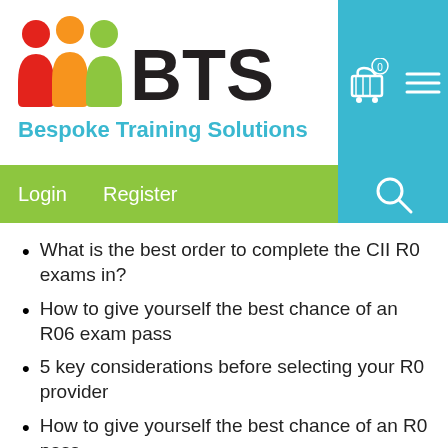[Figure (logo): BTS Bespoke Training Solutions logo with colorful figures and BTS text]
Login  Register
What is the best order to complete the CII R0 exams in?
How to give yourself the best chance of an R06 exam pass
5 key considerations before selecting your R0 provider
How to give yourself the best chance of an R0 pass